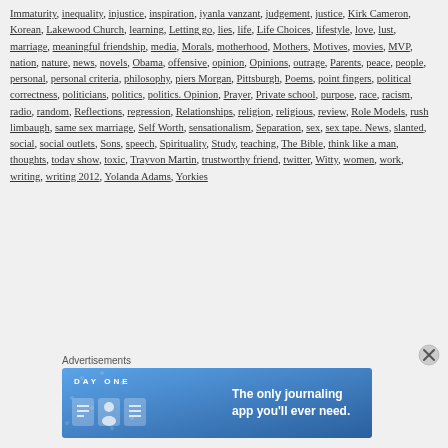Immaturity, inequality, injustice, inspiration, iyanla vanzant, judgement, justice, Kirk Cameron, Korean, Lakewood Church, learning, Letting go, lies, life, Life Choices, lifestyle, love, lust, marriage, meaningful friendship, media, Morals, motherhood, Mothers, Motives, movies, MVP, nation, nature, news, novels, Obama, offensive, opinion, Opinions, outrage, Parents, peace, people, personal, personal criteria, philosophy, piers Morgan, Pittsburgh, Poems, point fingers, political correctness, politicians, politics, politics. Opinion, Prayer, Private school, purpose, race, racism, radio, random, Reflections, regression, Relationships, religion, religious, review, Role Models, rush limbaugh, same sex marriage, Self Worth, sensationalism, Separation, sex, sex tape. News, slanted, social, social outlets, Sons, speech, Spirituality, Study, teaching, The Bible, think like a man, thoughts, today show, toxic, Trayvon Martin, trustworthy friend, twitter, Witty, women, work, writing, writing 2012, Yolanda Adams, Yorkies
Advertisements
[Figure (other): Day One journaling app advertisement banner with blue background, app icons, and text 'The only journaling app you'll ever need.']